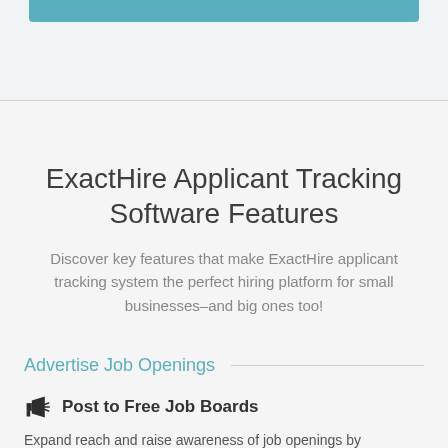[Figure (other): Teal/blue decorative header bar at the top of the page]
ExactHire Applicant Tracking Software Features
Discover key features that make ExactHire applicant tracking system the perfect hiring platform for small businesses–and big ones too!
Advertise Job Openings
Post to Free Job Boards
Expand reach and raise awareness of job openings by